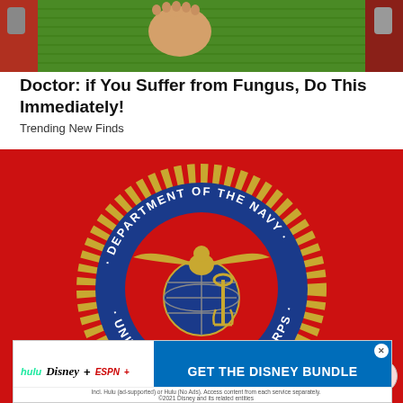[Figure (photo): Bare feet standing on a green bath mat with red side elements visible]
Doctor: if You Suffer from Fungus, Do This Immediately!
Trending New Finds
[Figure (logo): Department of the Navy / United States Marine Corps seal on red background]
Report an ad
[Figure (screenshot): Disney Bundle advertisement banner showing Hulu, Disney+, ESPN+ logos with 'GET THE DISNEY BUNDLE' call to action. Fine print: Incl. Hulu (ad-supported) or Hulu (No Ads). Access content from each service separately. ©2021 Disney and its related entities]